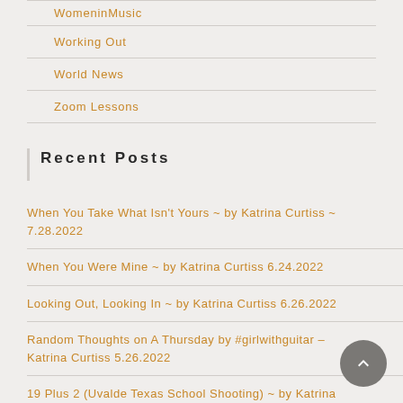WomeninMusic
Working Out
World News
Zoom Lessons
Recent Posts
When You Take What Isn't Yours ~ by Katrina Curtiss ~ 7.28.2022
When You Were Mine ~ by Katrina Curtiss 6.24.2022
Looking Out, Looking In ~ by Katrina Curtiss 6.26.2022
Random Thoughts on A Thursday by #girlwithguitar – Katrina Curtiss 5.26.2022
19 Plus 2 (Uvalde Texas School Shooting) ~ by Katrina Curtiss 5.24.2022